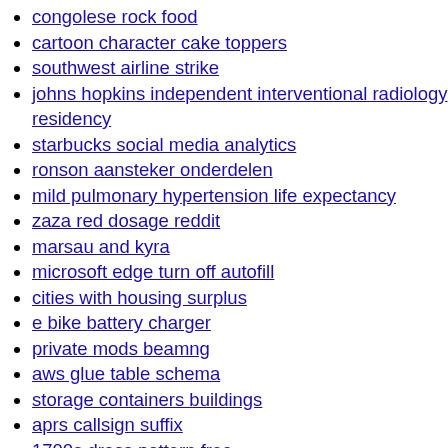congolese rock food
cartoon character cake toppers
southwest airline strike
johns hopkins independent interventional radiology residency
starbucks social media analytics
ronson aansteker onderdelen
mild pulmonary hypertension life expectancy
zaza red dosage reddit
marsau and kyra
microsoft edge turn off autofill
cities with housing surplus
e bike battery charger
private mods beamng
aws glue table schema
storage containers buildings
aprs callsign suffix
1700s dress pattern free
white kamigawa land
scooter shop online
vyvanse and iron deficiency
craftsman router lift
importance of supplication in islam
essentials for living on a boat
fidelity call center job reddit